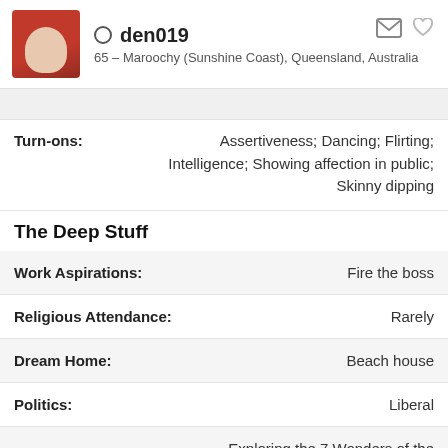den019
65 – Maroochy (Sunshine Coast), Queensland, Australia
Turn-ons: Assertiveness; Dancing; Flirting; Intelligence; Showing affection in public; Skinny dipping
The Deep Stuff
| Field | Value |
| --- | --- |
| Work Aspirations: | Fire the boss |
| Religious Attendance: | Rarely |
| Dream Home: | Beach house |
| Politics: | Liberal |
| Retirement Plans: | Exploring the 7 Wonders of the World |